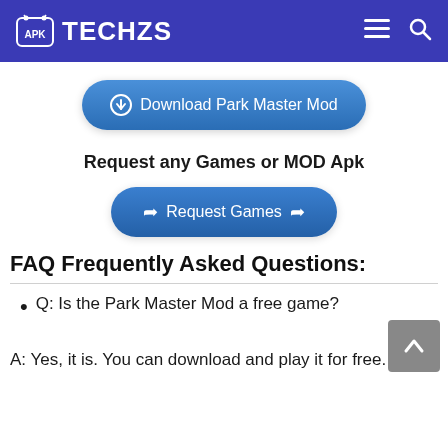TECHZS
[Figure (other): Download Park Master Mod button - blue pill-shaped button with download icon]
Request any Games or MOD Apk
[Figure (other): Request Games button - blue pill-shaped button with arrow icons]
FAQ Frequently Asked Questions:
Q: Is the Park Master Mod a free game?
A: Yes, it is. You can download and play it for free.